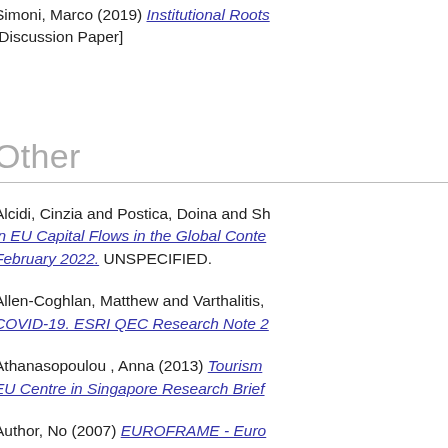Simoni, Marco (2019) Institutional Roots... [Discussion Paper]
Other
Alcidi, Cinzia and Postica, Doina and Sh... in EU Capital Flows in the Global Conte... February 2022. UNSPECIFIED.
Allen-Coghlan, Matthew and Varthalitis,... COVID-19. ESRI QEC Research Note 2...
Athanasopoulou, Anna (2013) Tourism... EU Centre in Singapore Research Brief...
Author, No (2007) EUROFRAME - Euro... Policy Analysis Spring Report 2007. Sp... UNSPECIFIED.
Bacon, Peter (1986) Medium-Term Outl...
Bradley, John and Fitz Gerald, John...